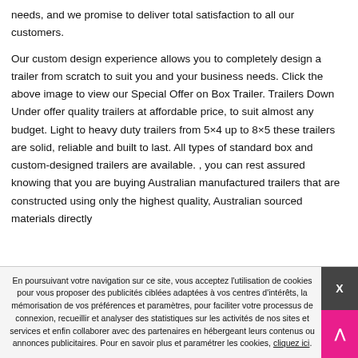needs, and we promise to deliver total satisfaction to all our customers.
Our custom design experience allows you to completely design a trailer from scratch to suit you and your business needs. Click the above image to view our Special Offer on Box Trailer. Trailers Down Under offer quality trailers at affordable price, to suit almost any budget. Light to heavy duty trailers from 5×4 up to 8×5 these trailers are solid, reliable and built to last. All types of standard box and custom-designed trailers are available. , you can rest assured knowing that you are buying Australian manufactured trailers that are constructed using only the highest quality, Australian sourced materials directly
En poursuivant votre navigation sur ce site, vous acceptez l'utilisation de cookies pour vous proposer des publicités ciblées adaptées à vos centres d'intérêts, la mémorisation de vos préférences et paramètres, pour faciliter votre processus de connexion, recueillir et analyser des statistiques sur les activités de nos sites et services et enfin collaborer avec des partenaires en hébergeant leurs contenus ou annonces publicitaires. Pour en savoir plus et paramétrer les cookies, cliquez ici.